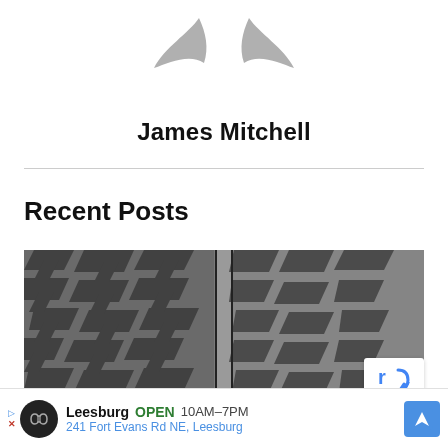[Figure (illustration): Generic user avatar icon — two grey wing/chevron shapes forming a stylized person silhouette on white background]
James Mitchell
[Figure (photo): Close-up photograph of two mud-terrain off-road truck tires showing aggressive tread pattern in black and grey tones]
[Figure (logo): Google reCAPTCHA badge — blue 'r' and curved arrow on white card in bottom-right corner of tire photo]
Recent Posts
Leesburg  OPEN  10AM–7PM  241 Fort Evans Rd NE, Leesburg